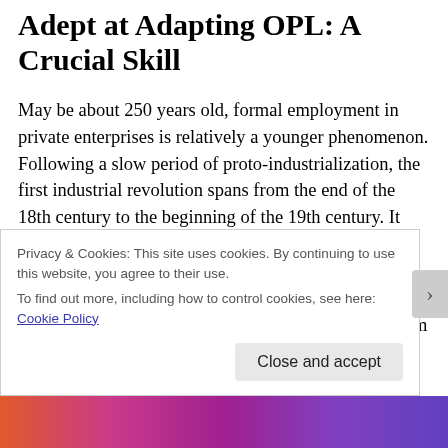Adept at Adapting OPL: A Crucial Skill
May be about 250 years old, formal employment in private enterprises is relatively a younger phenomenon. Following a slow period of proto-industrialization, the first industrial revolution spans from the end of the 18th century to the beginning of the 19th century. It witnessed the emergence of mechanization, a process that replaced agriculture with industry as the foundations of the economic structure of society. Mass extraction of coal along with the invention of the steam engine
Privacy & Cookies: This site uses cookies. By continuing to use this website, you agree to their use.
To find out more, including how to control cookies, see here: Cookie Policy
Close and accept